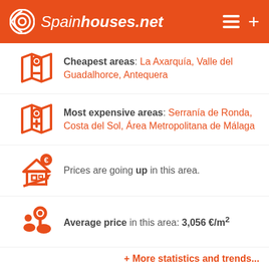Spainhouses.net
Cheapest areas: La Axarquía, Valle del Guadalhorce, Antequera
Most expensive areas: Serranía de Ronda, Costa del Sol, Área Metropolitana de Málaga
Prices are going up in this area.
Average price in this area: 3,056 €/m²
+ More statistics and trends...
Houses and flats by location
Marbella